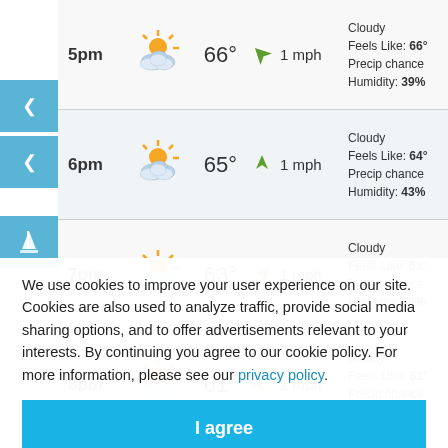| Time | Icon | Temp | Wind | Description |
| --- | --- | --- | --- | --- |
| 5pm | (partly cloudy icon) | 66° | 1 mph | Cloudy
Feels Like: 66°
Precip chance
Humidity: 39% |
| 6pm | (partly cloudy icon) | 65° | 1 mph | Cloudy
Feels Like: 64°
Precip chance
Humidity: 43% |
| 7pm | (partly cloudy icon) | 63° | 1 mph | Cloudy
Feels Like: 63°
Precip chance
Humidity: 49% |
| 8pm | (partly cloudy icon) | 61° | 1 mph | Cloudy
Feels Like: 61°
Precip chance
Humidity: 62% |
| ?pm | (overcast icon) | 59° | 1 mph | Overcast |
We use cookies to improve your user experience on our site. Cookies are also used to analyze traffic, provide social media sharing options, and to offer advertisements relevant to your interests. By continuing you agree to our cookie policy. For more information, please see our privacy policy.
I agree